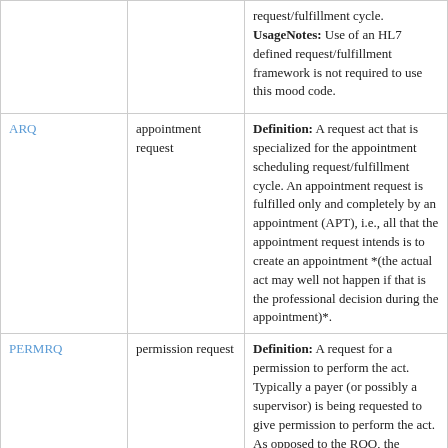| Code | Name | Description |
| --- | --- | --- |
|  |  | request/fulfillment cycle. **UsageNotes:** Use of an HL7 defined request/fulfillment framework is not required to use this mood code. |
| ARQ | appointment request | **Definition:** A request act that is specialized for the appointment scheduling request/fulfillment cycle. An appointment request is fulfilled only and completely by an appointment (APT), i.e., all that the appointment request intends is to create an appointment *(the actual act may well not happen if that is the professional decision during the appointment)*. |
| PERMRQ | permission request | **Definition:** A request for a permission to perform the act. Typically a payer (or possibly a supervisor) is being requested to give permission to perform the act. As opposed to the RQO, the requestee is not asked to perform or cause to perform the act but only to give the permission. |
| RQO | request | **Definition:** A request act that is specialized for an event request/fulfillment cycle. **UsageNotes:** The fulfillment cycle may involve intermediary fulfilling acts in moods such as PRMS, APT, or even |